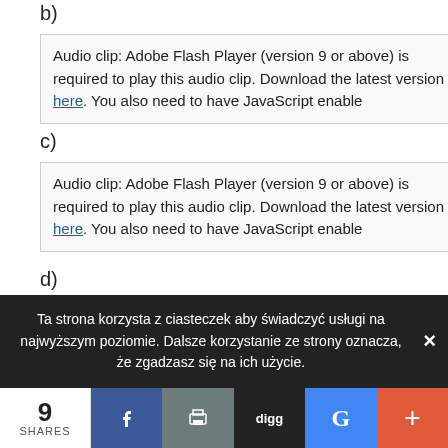b)
Audio clip: Adobe Flash Player (version 9 or above) is required to play this audio clip. Download the latest version here. You also need to have JavaScript enabled in your browser.
c)
Audio clip: Adobe Flash Player (version 9 or above) is required to play this audio clip. Download the latest version here. You also need to have JavaScript enabled in your browser.
d)
Audio clip: Adobe Flash Player (version 9 or above) is required to play this audio clip. Download
Ta strona korzysta z ciasteczek aby świadczyć usługi na najwyższym poziomie. Dalsze korzystanie ze strony oznacza, że zgadzasz się na ich użycie.
9 SHARES | Facebook | Print | Digg | Google | +